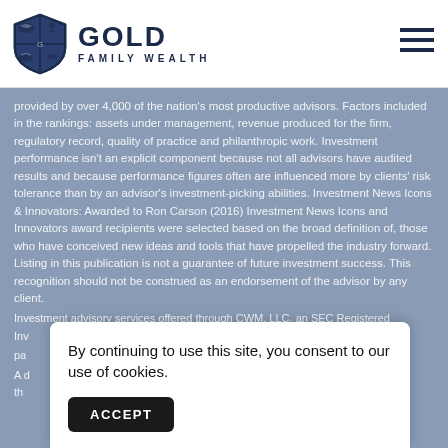[Figure (logo): Gold Family Wealth logo with shield icon containing animal silhouettes and text 'GOLD FAMILY WEALTH']
provided by over 4,000 of the nation's most productive advisors. Factors included in the rankings: assets under management, revenue produced for the firm, regulatory record, quality of practice and philanthropic work. Investment performance isn't an explicit component because not all advisors have audited results and because performance figures often are influenced more by clients' risk tolerance than by an advisor's investment-picking abilities. Investment News Icons & Innovators: Awarded to Ron Carson (2016) Investment News Icons and Innovators award recipients were selected based on the broad definition of, those who have conceived new ideas and tools that have propelled the industry forward. Listing in this publication is not a guarantee of future investment success. This recognition should not be construed as an endorsement of the advisor by any client.
Investment advisory services offered through CWM, LLC, an SEC Registered Inv... pa...
A d... g th...
By continuing to use this site, you consent to our use of cookies.
ACCEPT